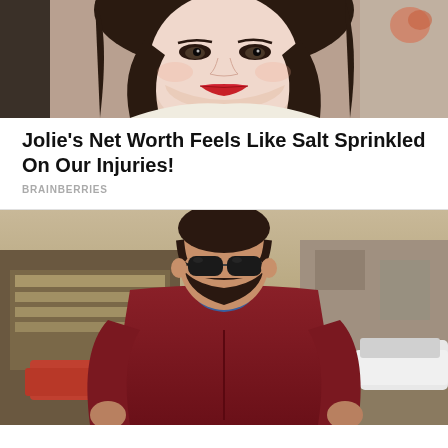[Figure (photo): Close-up photo of a woman (Angelina Jolie) with dark hair, red lips, wearing a light-colored outfit, smiling slightly, with earrings visible]
Jolie's Net Worth Feels Like Salt Sprinkled On Our Injuries!
BRAINBERRIES
[Figure (photo): Photo of a man (Adam Sandler) wearing sunglasses and a dark red/maroon hoodie sweatshirt, with a beard, standing outdoors near a white car with buildings in the background]